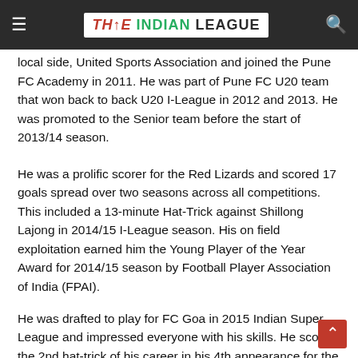THE INDIAN LEAGUE
local side, United Sports Association and joined the Pune FC Academy in 2011. He was part of Pune FC U20 team that won back to back U20 I-League in 2012 and 2013. He was promoted to the Senior team before the start of 2013/14 season.
He was a prolific scorer for the Red Lizards and scored 17 goals spread over two seasons across all competitions. This included a 13-minute Hat-Trick against Shillong Lajong in 2014/15 I-League season. His on field exploitation earned him the Young Player of the Year Award for 2014/15 season by Football Player Association of India (FPAI).
He was drafted to play for FC Goa in 2015 Indian Super League and impressed everyone with his skills. He scored the 2nd hat-trick of his career in his 4th appearance for the Goa based franchisee against Mumbai City FC as his team won the match by 7-0.